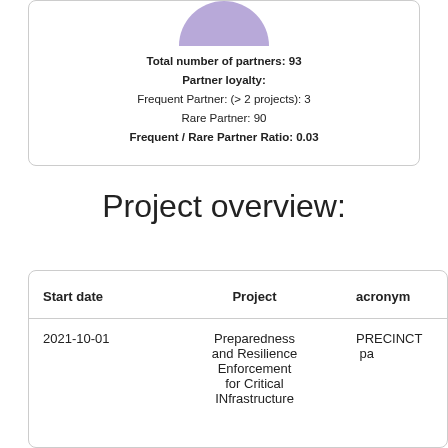[Figure (other): Top portion of a donut/pie chart showing partner distribution in purple/lavender color]
Total number of partners: 93
Partner loyalty:
Frequent Partner: (> 2 projects): 3
Rare Partner: 90
Frequent / Rare Partner Ratio: 0.03
Project overview:
| Start date | Project | acronym |
| --- | --- | --- |
| 2021-10-01 | Preparedness and Resilience Enforcement for Critical INfrastructure | PRECINCT |